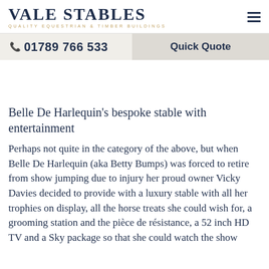VALE STABLES
QUALITY EQUESTRIAN & TIMBER BUILDINGS
📞 01789 766 533   Quick Quote
Belle De Harlequin's bespoke stable with entertainment
Perhaps not quite in the category of the above, but when Belle De Harlequin (aka Betty Bumps) was forced to retire from show jumping due to injury her proud owner Vicky Davies decided to provide with a luxury stable with all her trophies on display, all the horse treats she could wish for, a grooming station and the pièce de résistance, a 52 inch HD TV and a Sky package so that she could watch the show